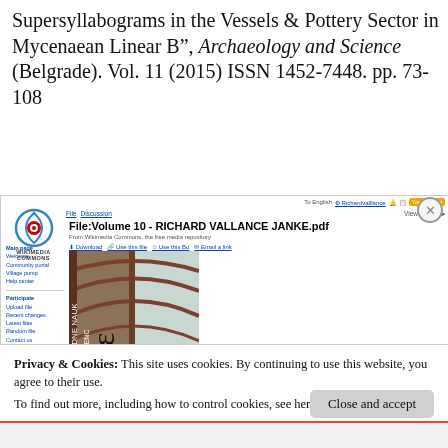Supersyllabograms in the Vessels & Pottery Sector in Mycenaean Linear B", Archaeology and Science (Belgrade). Vol. 11 (2015) ISSN 1452-7448. pp. 73-108
[Figure (screenshot): Screenshot of Wikimedia Commons page showing File:Volume 10 - RICHARD VALLANCE JANKE.pdf with sidebar navigation, file actions (Download, Use this file, Use this Bo, Email a link), and a thumbnail of a building interior with arched roof structure]
Privacy & Cookies: This site uses cookies. By continuing to use this website, you agree to their use.
To find out more, including how to control cookies, see here: Cookie Policy